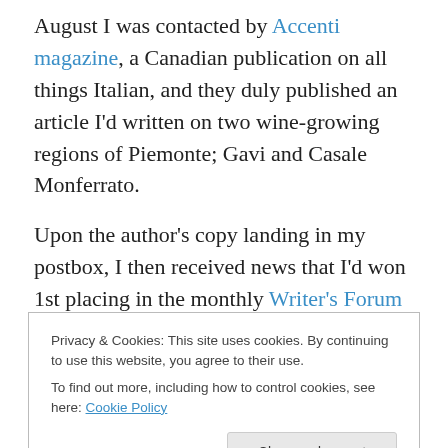August I was contacted by Accenti magazine, a Canadian publication on all things Italian, and they duly published an article I'd written on two wine-growing regions of Piemonte; Gavi and Casale Monferrato.
Upon the author's copy landing in my postbox, I then received news that I'd won 1st placing in the monthly Writer's Forum short story competition, which was published in the October issue.  Having my story critiqued by Sue Moorcroft was almost satisfying as seeing my name in print.
Privacy & Cookies: This site uses cookies. By continuing to use this website, you agree to their use. To find out more, including how to control cookies, see here: Cookie Policy
Close and accept
NaNoWriMo was a NaNoNOGo – it happens.